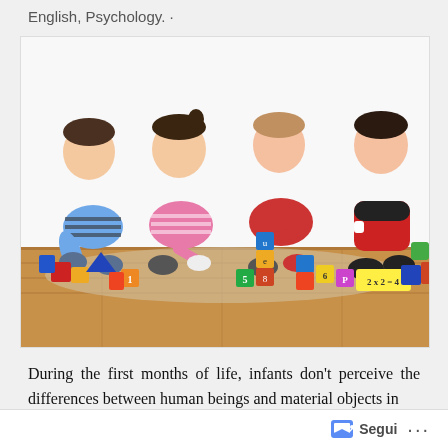English, Psychology. ·
[Figure (photo): Four young children sitting on the floor playing with colorful alphabet and number building blocks. The children are arranged left to right: a boy in a striped blue shirt, a girl in a pink striped shirt, a boy in a red shirt, and a girl in a red and black top. Wooden floor and white background. Visible blocks show letters, numbers, and '2x2=4'.]
During the first months of life, infants don't perceive the differences between human beings and material objects in